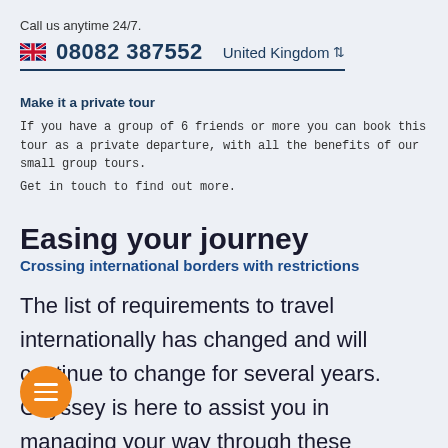Call us anytime 24/7.
🇬🇧 08082 387552  United Kingdom ⇅
Make it a private tour
If you have a group of 6 friends or more you can book this tour as a private departure, with all the benefits of our small group tours.
Get in touch to find out more.
Easing your journey
Crossing international borders with restrictions
The list of requirements to travel internationally has changed and will continue to change for several years. Odyssey is here to assist you in managing your way through these requirements:
[Figure (illustration): Orange circular menu button with three horizontal white lines (hamburger icon)]